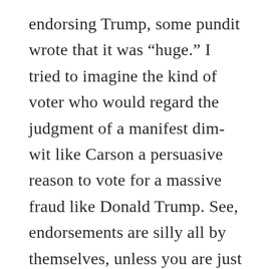endorsing Trump, some pundit wrote that it was “huge.” I tried to imagine the kind of voter who would regard the judgment of a manifest dim-wit like Carson a persuasive reason to vote for a massive fraud like Donald Trump. See, endorsements are silly all by themselves, unless you are just lost. Who is so devoid of pride and self-confidence that they think, “Well, I admire X, and thus I will assume that X’s judgement about who I